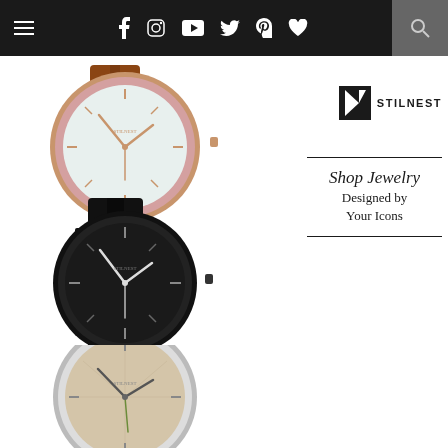Navigation bar with hamburger menu, social icons (Facebook, Instagram, YouTube, Twitter, Pinterest, Heart), and search
[Figure (photo): Three Stilnest watches displayed vertically on left side: top - rose gold case with brown leather strap and light dial; middle - black case with black leather strap and dark dial; bottom - silver case with green leather strap and beige/champagne dial. Partial fourth watch visible at bottom.]
[Figure (logo): Stilnest logo: black K-shaped geometric mark followed by STILNEST text in bold sans-serif caps]
Shop Jewelry Designed by Your Icons